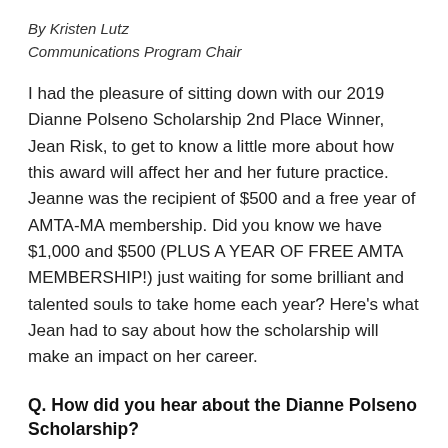By Kristen Lutz
Communications Program Chair
I had the pleasure of sitting down with our 2019 Dianne Polseno Scholarship 2nd Place Winner, Jean Risk, to get to know a little more about how this award will affect her and her future practice. Jeanne was the recipient of $500 and a free year of AMTA-MA membership. Did you know we have $1,000 and $500 (PLUS A YEAR OF FREE AMTA MEMBERSHIP!) just waiting for some brilliant and talented souls to take home each year? Here's what Jean had to say about how the scholarship will make an impact on her career.
Q. How did you hear about the Dianne Polseno Scholarship?